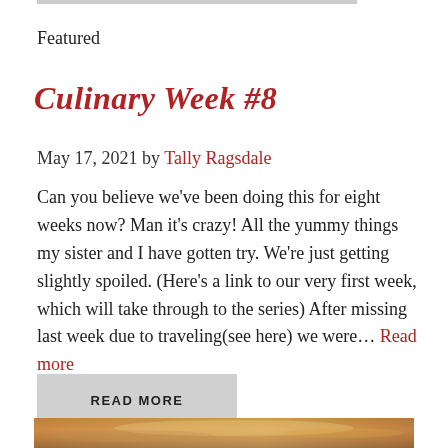Featured
Culinary Week #8
May 17, 2021 by Tally Ragsdale
Can you believe we've been doing this for eight weeks now? Man it's crazy! All the yummy things my sister and I have gotten try. We're just getting slightly spoiled. (Here's a link to our very first week, which will take through to the series) After missing last week due to traveling(see here) we were… Read more
READ MORE
[Figure (photo): Bottom portion of a landscape photo showing a dramatic sky with orange and golden clouds at dusk or dawn.]